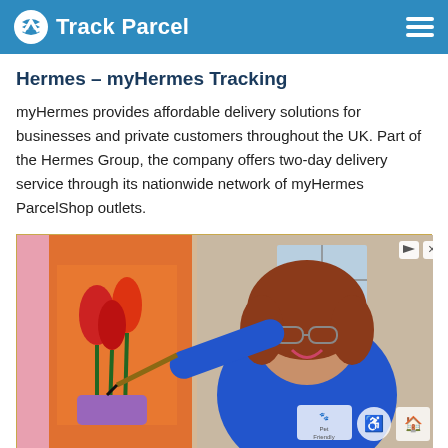Track Parcel
Hermes – myHermes Tracking
myHermes provides affordable delivery solutions for businesses and private customers throughout the UK. Part of the Hermes Group, the company offers two-day delivery service through its nationwide network of myHermes ParcelShop outlets.
[Figure (photo): Advertisement showing a smiling woman in a blue top painting tulips on a canvas. Below the photo is text reading 'Gracious Retirement Living' with a red heart, and 'Come Share' in large italic font.]